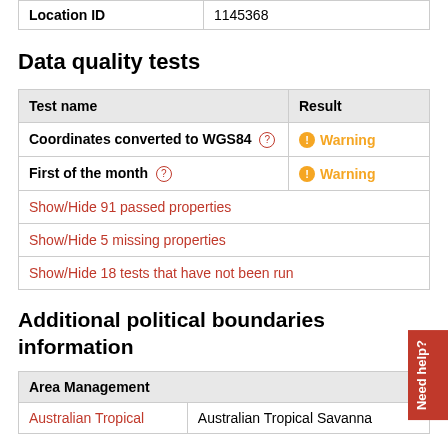| Location ID | 1145368 |
| --- | --- |
Data quality tests
| Test name | Result |
| --- | --- |
| Coordinates converted to WGS84 | Warning |
| First of the month | Warning |
| Show/Hide 91 passed properties |  |
| Show/Hide 5 missing properties |  |
| Show/Hide 18 tests that have not been run |  |
Additional political boundaries information
| Area Management |  |
| --- | --- |
| Australian Tropical | Australian Tropical Savanna |